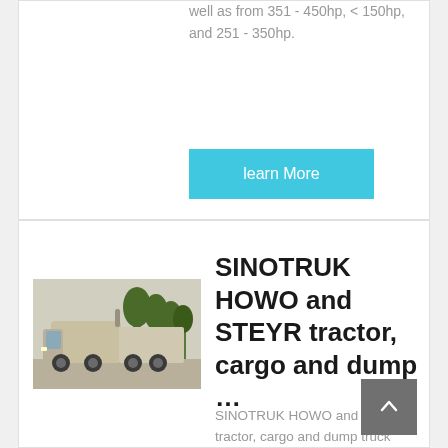from 22 - 30, 1 - 10, and 31 - 160hp as well as from 351 - 450hp, < 150hp, and 251 - 350hp.
learn More
[Figure (photo): SINOTRUK HOWO tractor truck parked outdoors with trees in background]
SINOTRUK HOWO and STEYR tractor, cargo and dump …
SINOTRUK HOWO and STEYR tractor, cargo and dump truck parts HOWO ENGINE ACCESSORIES, US $ 1 - 85 / Unit, HOWO, Shandong, China, steyr truck parts.Source from Jining Yanzhou Howo Trading Co.,